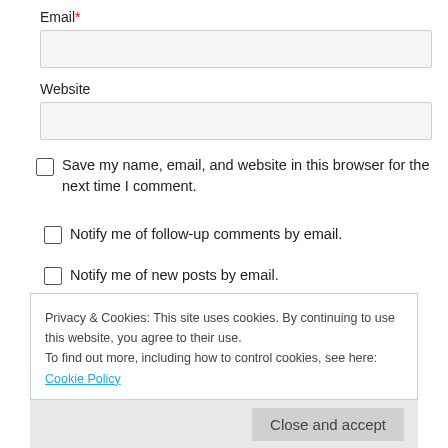Email*
Website
Save my name, email, and website in this browser for the next time I comment.
Notify me of follow-up comments by email.
Notify me of new posts by email.
POST COMMENT
Privacy & Cookies: This site uses cookies. By continuing to use this website, you agree to their use. To find out more, including how to control cookies, see here: Cookie Policy
Close and accept